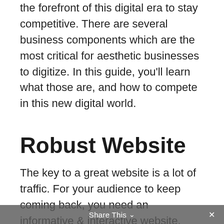the forefront of this digital era to stay competitive. There are several business components which are the most critical for aesthetic businesses to digitize. In this guide, you'll learn what those are, and how to compete in this new digital world.
Robust Website
The key to a great website is a lot of traffic. For your audience to keep coming back, you need an informative & interactive website. Provide loads of information on your services with distinct pages for each
Share This